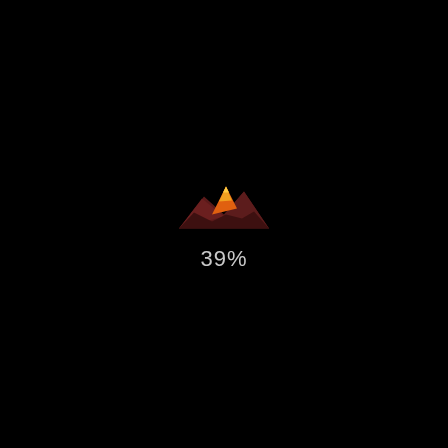[Figure (logo): Small mountain/landscape logo icon with dark red silhouette mountains and bright orange/yellow peak highlight, centered on black background]
39%